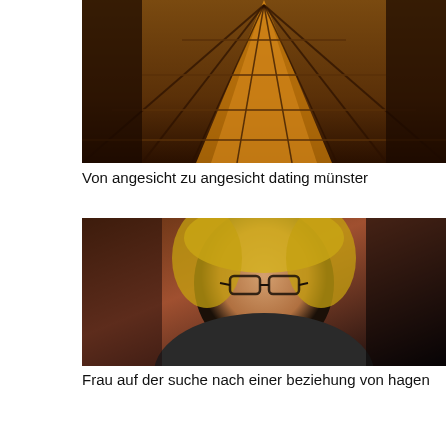[Figure (photo): Interior triangular wooden ceiling architecture viewed from below]
Von angesicht zu angesicht dating münster
[Figure (photo): Middle-aged woman with curly blonde hair and glasses, selfie photo]
Frau auf der suche nach einer beziehung von hagen
[Figure (photo): Man holding hands up forming a frame around eyes with glowing light effect]
Flirten augenkontakt wie lange
[Figure (photo): Partial view of a person's face, cropped at bottom of page]